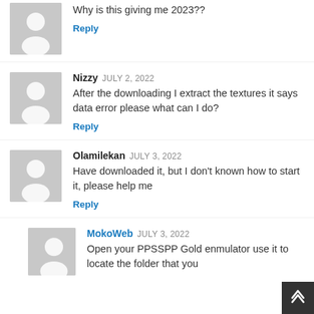Why is this giving me 2023??
Reply
Nizzy JULY 2, 2022
After the downloading I extract the textures it says data error please what can I do?
Reply
Olamilekan JULY 3, 2022
Have downloaded it, but I don't known how to start it, please help me
Reply
MokoWeb JULY 3, 2022
Open your PPSSPP Gold enmulator use it to locate the folder that you